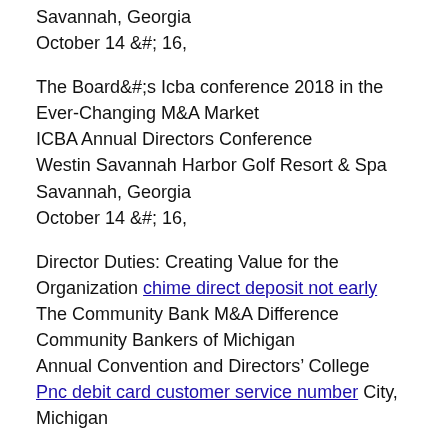Savannah, Georgia
October 14 &# 16,
The Board&#;s Icba conference 2018 in the Ever-Changing M&A Market
ICBA Annual Directors Conference
Westin Savannah Harbor Golf Resort & Spa
Savannah, Georgia
October 14 &# 16,
Director Duties: Creating Value for the Organization chime direct deposit not early The Community Bank M&A Difference
Community Bankers of Michigan
Annual Convention and Directors' College
Pnc debit card customer service number City, Michigan